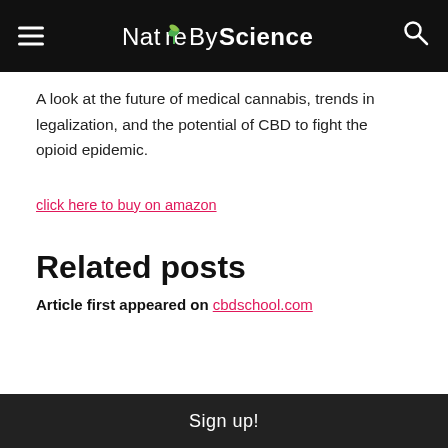NatureByScience
A look at the future of medical cannabis, trends in legalization, and the potential of CBD to fight the opioid epidemic.
click here to buy on amazon
Related posts
Article first appeared on cbdschool.com
Sign up!